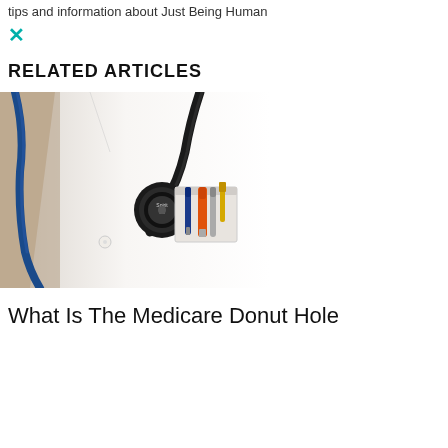tips and information about Just Being Human
✕
RELATED ARTICLES
[Figure (photo): A doctor in a white lab coat with a stethoscope draped over the shoulder, and medical tools including orange and blue pens/instruments in the breast pocket. A Spirit brand stethoscope head is visible.]
What Is The Medicare Donut Hole